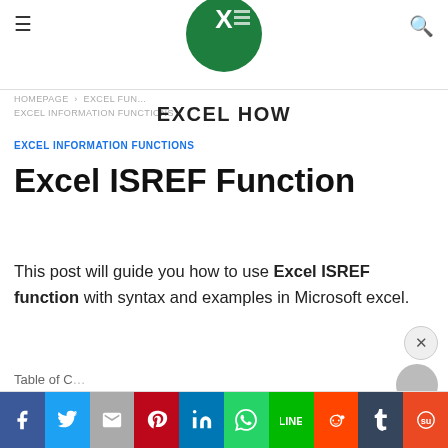EXCEL HOW
HOMEPAGE > EXCEL FUNCTIONS > EXCEL INFORMATION FUNCTIONS
EXCEL HOW
EXCEL INFORMATION FUNCTIONS
Excel ISREF Function
This post will guide you how to use Excel ISREF function with syntax and examples in Microsoft excel.